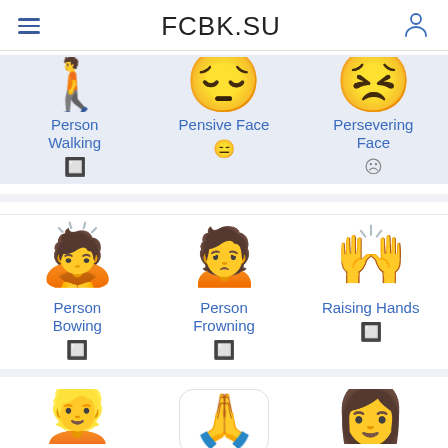FCBK.SU
[Figure (illustration): Person Walking emoji (partially visible at top)]
Person Walking
[Figure (illustration): Pensive Face emoji (partially visible at top)]
Pensive Face
[Figure (illustration): Persevering Face emoji (partially visible at top)]
Persevering Face
[Figure (illustration): Person Bowing emoji]
Person Bowing
[Figure (illustration): Person Frowning emoji]
Person Frowning
[Figure (illustration): Raising Hands emoji]
Raising Hands
[Figure (illustration): Partial emoji images at bottom row (person with blonde hair, folded hands in card, person with dark hair)]